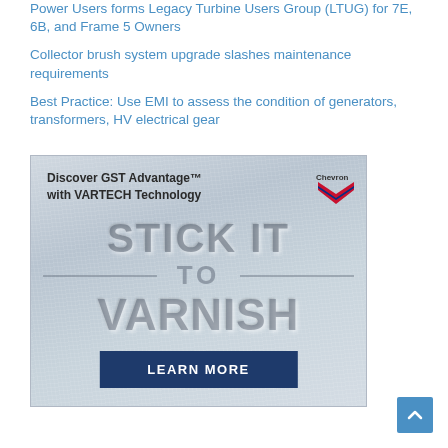Power Users forms Legacy Turbine Users Group (LTUG) for 7E, 6B, and Frame 5 Owners
Collector brush system upgrade slashes maintenance requirements
Best Practice: Use EMI to assess the condition of generators, transformers, HV electrical gear
[Figure (illustration): Chevron advertisement for GST Advantage with VARTECH Technology. Large text reads 'STICK IT TO VARNISH' on a brushed metal background. Chevron logo in top right. Blue 'LEARN MORE' button at bottom.]